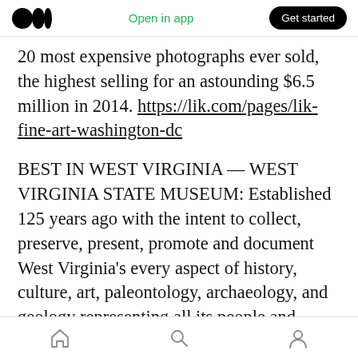Medium app header — Open in app | Get started
20 most expensive photographs ever sold, the highest selling for an astounding $6.5 million in 2014. https://lik.com/pages/lik-fine-art-washington-dc
BEST IN WEST VIRGINIA — WEST VIRGINIA STATE MUSEUM: Established 125 years ago with the intent to collect, preserve, present, promote and document West Virginia's every aspect of history, culture, art, paleontology, archaeology, and geology representing all its people and industries.
http://www.wvculture.org/museum/State
Bottom navigation bar — Home, Search, Profile